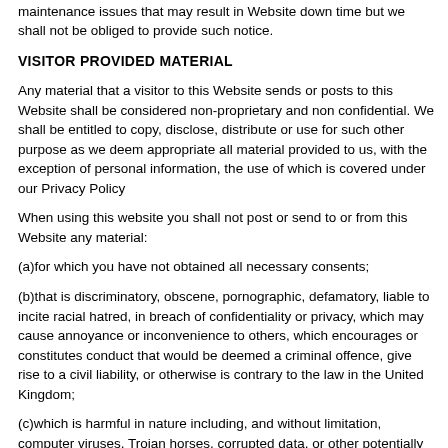Where possible we always try to give advance warning of maintenance issues that may result in Website down time but we shall not be obliged to provide such notice.
VISITOR PROVIDED MATERIAL
Any material that a visitor to this Website sends or posts to this Website shall be considered non-proprietary and non confidential. We shall be entitled to copy, disclose, distribute or use for such other purpose as we deem appropriate all material provided to us, with the exception of personal information, the use of which is covered under our Privacy Policy
When using this website you shall not post or send to or from this Website any material:
(a)for which you have not obtained all necessary consents;
(b)that is discriminatory, obscene, pornographic, defamatory, liable to incite racial hatred, in breach of confidentiality or privacy, which may cause annoyance or inconvenience to others, which encourages or constitutes conduct that would be deemed a criminal offence, give rise to a civil liability, or otherwise is contrary to the law in the United Kingdom;
(c)which is harmful in nature including, and without limitation, computer viruses, Trojan horses, corrupted data, or other potentially harmful software or data.